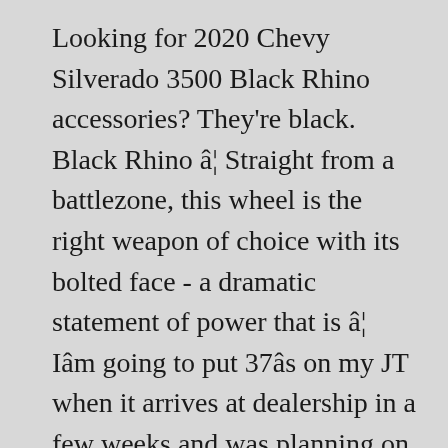Looking for 2020 Chevy Silverado 3500 Black Rhino accessories? They're black. Black Rhino â¦ Straight from a battlezone, this wheel is the right weapon of choice with its bolted face - a dramatic statement of power that is â¦ Iâm going to put 37âs on my JT when it arrives at dealership in a few weeks and was planning on also doing the 18 in black rhino armory wheels. Black Rhino Armory Rims Bolt Patterns: 5x127 | 5x150 | 6x135 | 6x139.7 | 8x165.1 | 8x170 | 8x180 The black rhino armory review is amongst the highest we have received by many owners of the black rhino armory tacoma, black rhino armory 4runner, black rhino armory silverado, black rhino armory tundra, black rhino armory f350, and black...